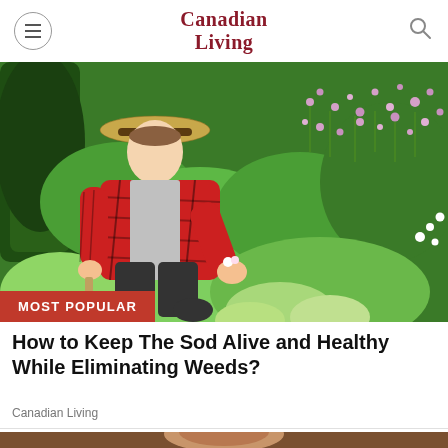Canadian Living
[Figure (photo): Woman in red plaid shirt and straw hat gardening in a lush green garden with pink and purple flowers in the background. Badge reads MOST POPULAR.]
How to Keep The Sod Alive and Healthy While Eliminating Weeds?
Canadian Living
[Figure (photo): Partial view of a person's face, cropped at bottom of page.]